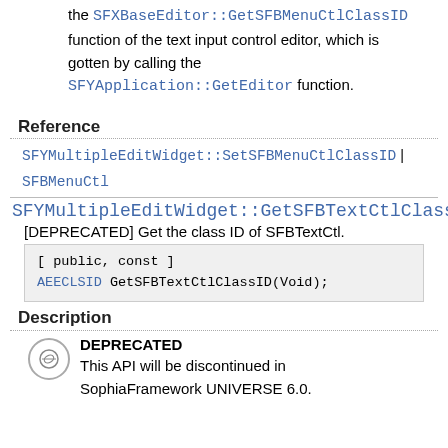the SFXBaseEditor::GetSFBMenuCtlClassID function of the text input control editor, which is gotten by calling the SFYApplication::GetEditor function.
Reference
SFYMultipleEditWidget::SetSFBMenuCtlClassID | SFBMenuCtl
SFYMultipleEditWidget::GetSFBTextCtlClassID
[DEPRECATED] Get the class ID of SFBTextCtl.
[ public, const ]
AEECLSID GetSFBTextCtlClassID(Void);
Description
DEPRECATED
This API will be discontinued in SophiaFramework UNIVERSE 6.0.